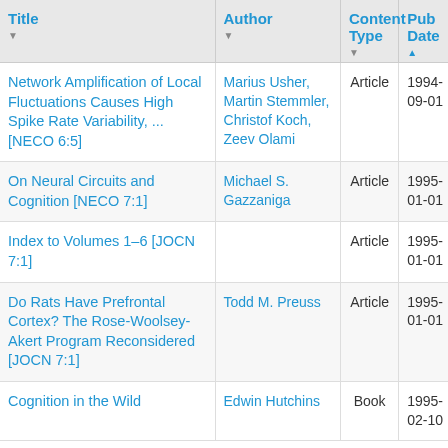| Title | Author | Content Type | Pub Date |
| --- | --- | --- | --- |
| Network Amplification of Local Fluctuations Causes High Spike Rate Variability, ... [NECO 6:5] | Marius Usher, Martin Stemmler, Christof Koch, Zeev Olami | Article | 1994-09-01 |
| On Neural Circuits and Cognition [NECO 7:1] | Michael S. Gazzaniga | Article | 1995-01-01 |
| Index to Volumes 1–6 [JOCN 7:1] |  | Article | 1995-01-01 |
| Do Rats Have Prefrontal Cortex? The Rose-Woolsey-Akert Program Reconsidered [JOCN 7:1] | Todd M. Preuss | Article | 1995-01-01 |
| Cognition in the Wild | Edwin Hutchins | Book | 1995-02-10 |